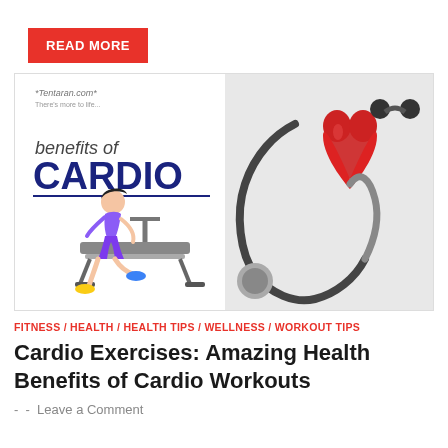READ MORE
[Figure (illustration): Cardio benefits infographic showing a person running on a treadmill on the left side and a red heart-shaped object with a stethoscope on the right side. Text reads 'benefits of CARDIO' with Tentaran.com logo.]
FITNESS / HEALTH / HEALTH TIPS / WELLNESS / WORKOUT TIPS
Cardio Exercises: Amazing Health Benefits of Cardio Workouts
- - Leave a Comment